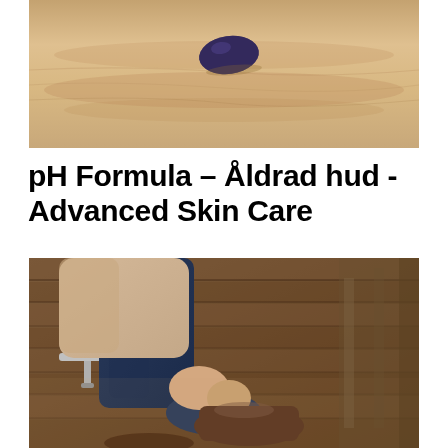[Figure (photo): A dark blue/purple smooth stone lying on sandy beige sand surface, viewed from above. The sand has gentle ripple textures.]
pH Formula – Åldrad hud - Advanced Skin Care
[Figure (photo): A person sitting on a chair, wearing jeans and a beige/tan chunky knit cardigan, putting on or adjusting a dark brown ankle boot. The floor appears to be wooden. Only the lower body is visible.]